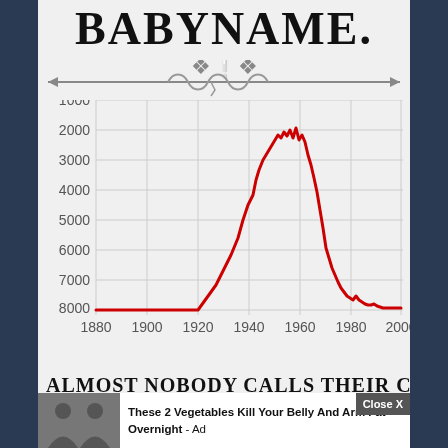BABYNAME.
[Figure (continuous-plot): A continuous line chart showing the popularity rank (y-axis, 1000 to 8000, inverted so 1000 is at top) of a baby name over time (x-axis: 1880 to 2000). The red line rises from off-chart on the left, peaks around rank 1500-2500 near 1950-1960, then falls sharply to around rank 7500-8000 by 2000. Gridlines visible at each major interval.]
ALMOST NOBODY CALLS THEIR CHI...
These 2 Vegetables Kill Your Belly And Arm Fat Overnight - Ad